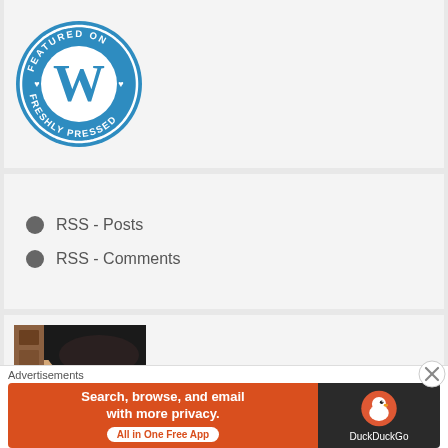[Figure (logo): WordPress 'Featured on Freshly Pressed' circular badge in blue and white]
RSS - Posts
RSS - Comments
[Figure (photo): Partial profile photo of a person with dark hair]
Advertisements
[Figure (infographic): DuckDuckGo advertisement banner: 'Search, browse, and email with more privacy. All in One Free App' with DuckDuckGo logo on dark background]